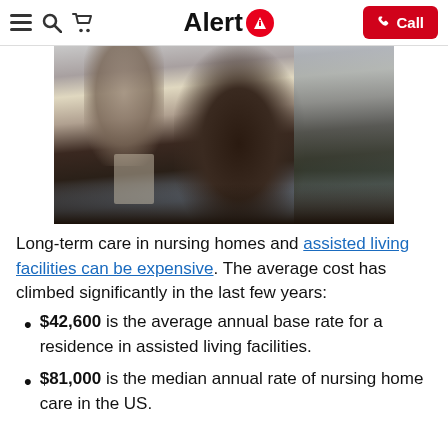Alert1 — Call
[Figure (photo): Two elderly people sitting at a cafe/restaurant table viewed from behind, with windows and indoor plants in the background.]
Long-term care in nursing homes and assisted living facilities can be expensive. The average cost has climbed significantly in the last few years:
$42,600 is the average annual base rate for a residence in assisted living facilities.
$81,000 is the median annual rate of nursing home care in the US.